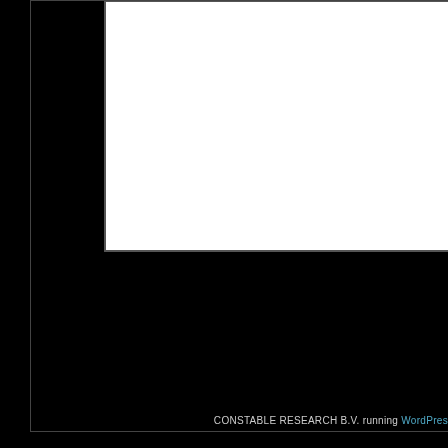[Figure (screenshot): White content area box, partially visible, on dark/black background. A form or page content area cropped at the top.]
Submi
CONSTABLE RESEARCH B.V. running WordPress